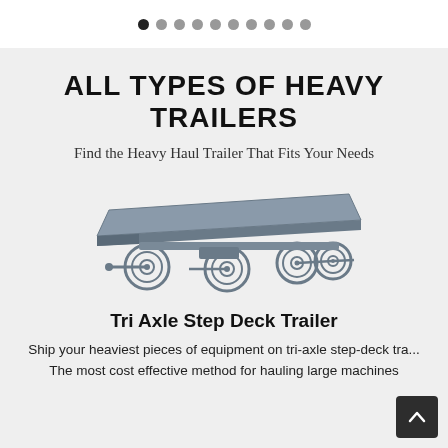• • • • • • • • • •
ALL TYPES OF HEAVY TRAILERS
Find the Heavy Haul Trailer That Fits Your Needs
[Figure (illustration): Illustration of a Tri Axle Step Deck Trailer shown in side perspective view, gray tones, with three axles and flat deck surface.]
Tri Axle Step Deck Trailer
Ship your heaviest pieces of equipment on tri-axle step-deck tra... The most cost effective method for hauling large machines